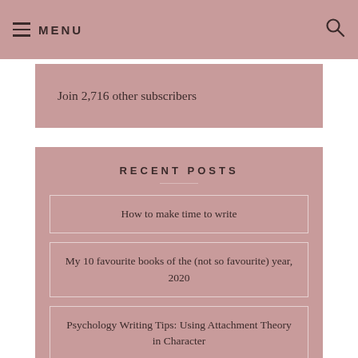MENU
Join 2,716 other subscribers
RECENT POSTS
How to make time to write
My 10 favourite books of the (not so favourite) year, 2020
Psychology Writing Tips: Using Attachment Theory in Character